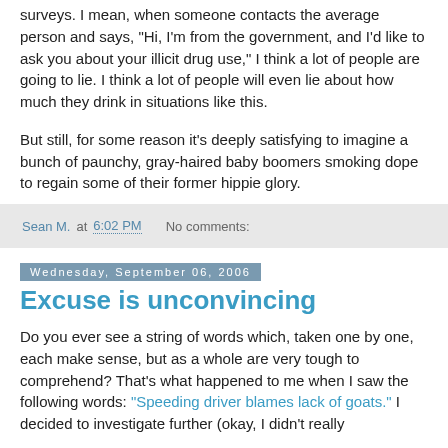surveys. I mean, when someone contacts the average person and says, "Hi, I'm from the government, and I'd like to ask you about your illicit drug use," I think a lot of people are going to lie. I think a lot of people will even lie about how much they drink in situations like this.
But still, for some reason it's deeply satisfying to imagine a bunch of paunchy, gray-haired baby boomers smoking dope to regain some of their former hippie glory.
Sean M. at 6:02 PM   No comments:
Wednesday, September 06, 2006
Excuse is unconvincing
Do you ever see a string of words which, taken one by one, each make sense, but as a whole are very tough to comprehend? That's what happened to me when I saw the following words: "Speeding driver blames lack of goats." I decided to investigate further (okay, I didn't really